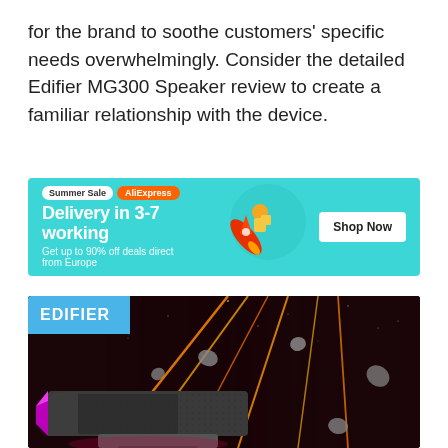for the brand to soothe customers' specific needs overwhelmingly. Consider the detailed Edifier MG300 Speaker review to create a familiar relationship with the device.
[Figure (infographic): AliExpress Summer Sale advertisement banner. Cyan/teal background. Text: 'Summer Sale', 'AliExpress', 'Delivery in 3-7 working', 'Get up to 90% off deals direct from Europe'. Illustration of rocket with delivery person. 'Shop Now' button on right.]
[Figure (photo): Edifier MG300 gaming speaker product photo on a dramatic space-like background with orange laser beams, asteroids/rocks, and dark starfield. Speaker is a dark rectangular bar shape with purple/pink RGB lighting on the left side. 'EDIFIER' logo badge in blue in top-left corner.]